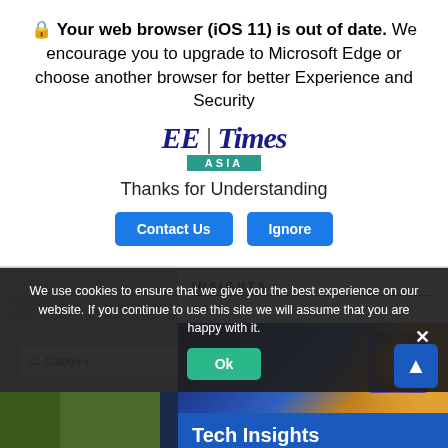[Figure (screenshot): Browser out-of-date popup overlay on top of EE Times Asia website. Shows browser update warning, EE Times logo, Contact Us and Ignore buttons, Tech Insights 2022 banner, and cookie consent bar.]
Your web browser (iOS 11) is out of date. We encourage you to upgrade to Microsoft Edge or choose another browser for better Experience and Security
[Figure (logo): EE Times Asia logo — blue serif EE|Times text with teal ASIA bar below]
Thanks for Understanding
Contact Us   Ignore
[Figure (infographic): Tech Insights Asia 2022 promotional banner with semiconductor chip imagery]
We use cookies to ensure that we give you the best experience on our website. If you continue to use this site we will assume that you are happy with it.
Ok